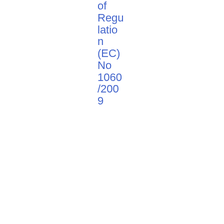of Regulation (EC) No 1060/2009
19/09/2011
2011/304
Consultation paper- ESMA's draft Regulatory Tech
Credit Rating Agencies
Consultation Paper
PDF
18 2.29 KB